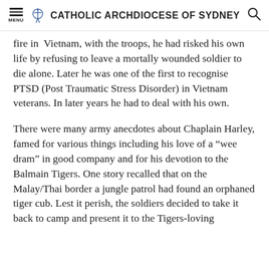MENU | CATHOLIC ARCHDIOCESE OF SYDNEY
fire in Vietnam, with the troops, he had risked his own life by refusing to leave a mortally wounded soldier to die alone. Later he was one of the first to recognise PTSD (Post Traumatic Stress Disorder) in Vietnam veterans. In later years he had to deal with his own.
There were many army anecdotes about Chaplain Harley, famed for various things including his love of a “wee dram” in good company and for his devotion to the Balmain Tigers. One story recalled that on the Malay/Thai border a jungle patrol had found an orphaned tiger cub. Lest it perish, the soldiers decided to take it back to camp and present it to the Tigers-loving